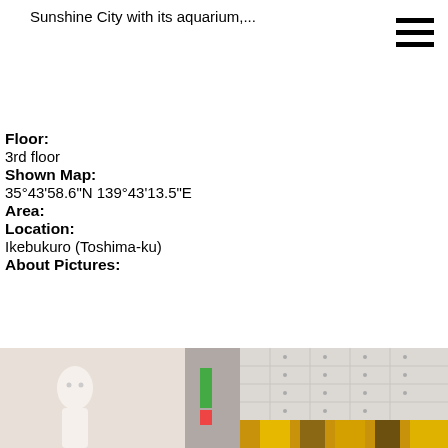Sunshine City with its aquarium,...
Floor:
3rd floor
Shown Map:
35°43'58.6"N 139°43'13.5"E
Area:
Location:
Ikebukuro (Toshima-ku)
About Pictures:
[Figure (photo): Street-level photograph of a commercial building in Ikebukuro (Toshima-ku), showing a tall building facade with glass and panel cladding, signage, and a colorful yellow/brown/orange curved storefront at the bottom right. A white sculptural figure visible on the left side.]